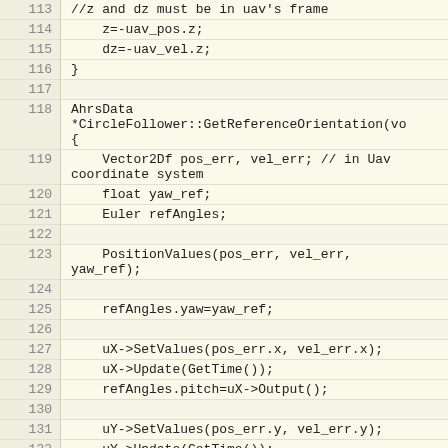Code listing lines 113-132: C++ source code for CircleFollower navigation controller
| Line | Code |
| --- | --- |
| 113 |     //z and dz must be in uav's frame |
| 114 |     z=-uav_pos.z; |
| 115 |     dz=-uav_vel.z; |
| 116 | } |
| 117 |  |
| 118 | AhrsData *CircleFollower::GetReferenceOrientation(vo
{ |
| 119 |     Vector2Df pos_err, vel_err; // in Uav coordinate system |
| 120 |     float yaw_ref; |
| 121 |     Euler refAngles; |
| 122 |  |
| 123 |     PositionValues(pos_err, vel_err,
yaw_ref); |
| 124 |  |
| 125 |     refAngles.yaw=yaw_ref; |
| 126 |  |
| 127 |     uX->SetValues(pos_err.x, vel_err.x); |
| 128 |     uX->Update(GetTime()); |
| 129 |     refAngles.pitch=uX->Output(); |
| 130 |  |
| 131 |     uY->SetValues(pos_err.y, vel_err.y); |
| 132 |     uY->Update(GetTime()); |